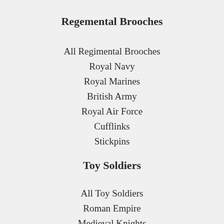Regemental Brooches
All Regimental Brooches
Royal Navy
Royal Marines
British Army
Royal Air Force
Cufflinks
Stickpins
Toy Soldiers
All Toy Soldiers
Roman Empire
Medieval Knights
Battle of Blenheim, 1704
Jacobite Rebellion, 1745
French & Indian Wars